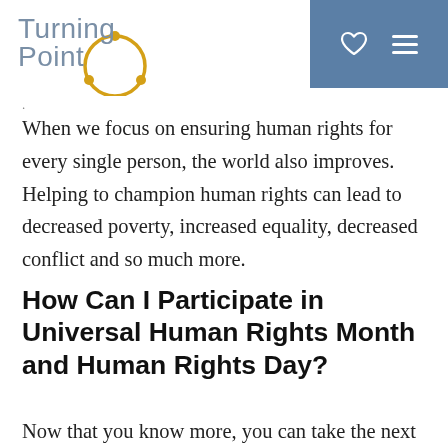Turning Point [logo with navigation]
When we focus on ensuring human rights for every single person, the world also improves. Helping to champion human rights can lead to decreased poverty, increased equality, decreased conflict and so much more.
How Can I Participate in Universal Human Rights Month and Human Rights Day?
Now that you know more, you can take the next